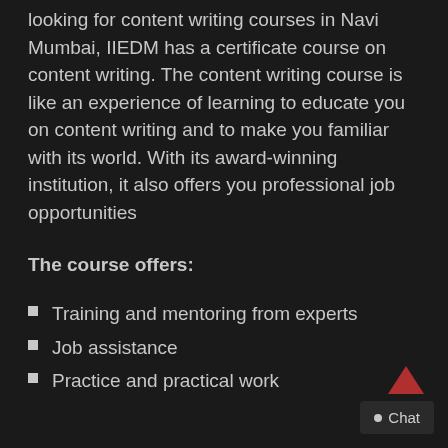looking for content writing courses in Navi Mumbai, IIEDM has a certificate course on content writing. The content writing course is like an experience of learning to educate you on content writing and to make you familiar with its world. With its award-winning institution, it also offers you professional job opportunities
The course offers:
Training and mentoring from experts
Job assistance
Practice and practical work